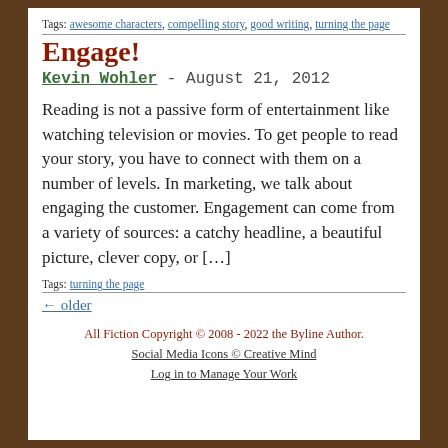Tags: awesome characters, compelling story, good writing, turning the page
Engage!
Kevin Wohler  -  August 21, 2012
Reading is not a passive form of entertainment like watching television or movies. To get people to read your story, you have to connect with them on a number of levels. In marketing, we talk about engaging the customer. Engagement can come from a variety of sources: a catchy headline, a beautiful picture, clever copy, or […]
Tags: turning the page
← older
All Fiction Copyright © 2008 - 2022 the Byline Author.
Social Media Icons © Creative Mind
Log in to Manage Your Work